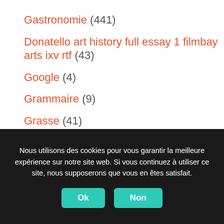Gastronomie (441)
Donatello art history full essay 1 filmbay arts ixv rtf (43)
Google (4)
Grammaire (9)
Grasse (41)
handicap (9)
Nous utilisons des cookies pour vous garantir la meilleure expérience sur notre site web. Si vous continuez à utiliser ce site, nous supposerons que vous en êtes satisfait.
Ok
Non